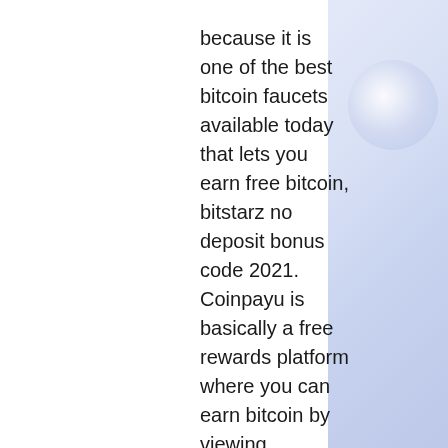because it is one of the best bitcoin faucets available today that lets you earn free bitcoin, bitstarz no deposit bonus code 2021. Coinpayu is basically a free rewards platform where you can earn bitcoin by viewing advertisements or doing offers. In order to help you, I have done the research and came up with a list of the Best Bitcoin faucets that are legit and are going to help you earn some free Bitcoins, which we will discuss in a while but first, we will have a deeper look into how Bitcoin Faucets work, bitstarz no deposit bonus 2019. How can you start earning Bitcoin from Bitcoin Faucets? The majority of the faucets provide information to new users and offer them some free coins to 'try before they buy,' or experiment with a test transaction before putting real money on the line, bitstarz no deposit bonus 2020. In general, this is a beneficial way to promote digital currency and bring in new users. If you're interested in